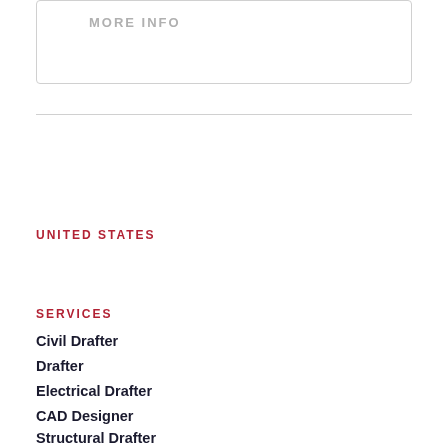MORE INFO
UNITED STATES
UNITED STATES
1-833-9333-522
SERVICES
Civil Drafter
Drafter
Electrical Drafter
CAD Designer
Structural Drafter